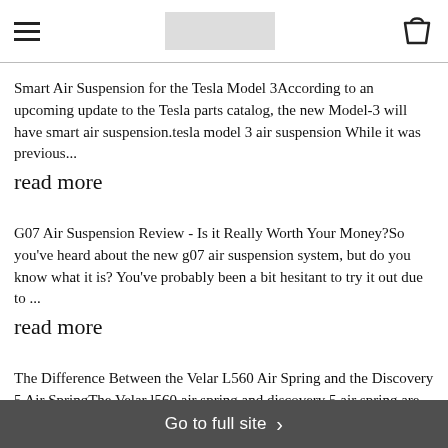☰ [logo] 🛍
Smart Air Suspension for the Tesla Model 3According to an upcoming update to the Tesla parts catalog, the new Model-3 will have smart air suspension.tesla model 3 air suspension While it was previous...
read more
G07 Air Suspension Review - Is it Really Worth Your Money?So you've heard about the new g07 air suspension system, but do you know what it is? You've probably been a bit hesitant to try it out due to ...
read more
The Difference Between the Velar L560 Air Spring and the Discovery 5 Air SpringThe Velar l560 air spring and discovery 5 air spring are interchangeable and designed to provide improved performance. Co
Go to full site ›